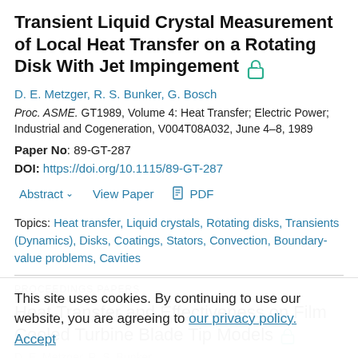Transient Liquid Crystal Measurement of Local Heat Transfer on a Rotating Disk With Jet Impingement
D. E. Metzger, R. S. Bunker, G. Bosch
Proc. ASME. GT1989, Volume 4: Heat Transfer; Electric Power; Industrial and Cogeneration, V004T08A032, June 4–8, 1989
Paper No: 89-GT-287
DOI: https://doi.org/10.1115/89-GT-287
Abstract  View Paper  PDF
Topics: Heat transfer, Liquid crystals, Rotating disks, Transients (Dynamics), Disks, Coatings, Stators, Convection, Boundary-value problems, Cavities
PROCEEDINGS PAPERS
Heat Transfer and Effectiveness on Film Cooled Turbine Blade Tip Models
This site uses cookies. By continuing to use our website, you are agreeing to our privacy policy. Accept